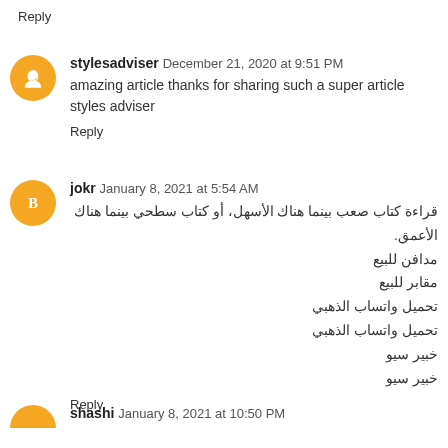Reply
stylesadviser  December 21, 2020 at 9:51 PM
amazing article thanks for sharing such a super article styles adviser
Reply
jokr  January 8, 2021 at 5:54 AM
قراءة كتاب صعب بينما هناك الأسهل، أو كتاب سطحي بينما هناك الأعمق.
مدافن للبيع
مقابر للبيع
تحميل واتساب الذهبي
تحميل واتساب الذهبي
خبير سيو
خبير سيو
Reply
shashi  January 8, 2021 at 10:50 PM